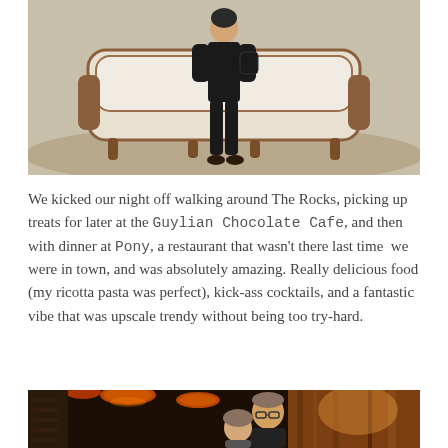[Figure (photo): Photo of a person dressed in black standing in front of an ornate sofa/bench with curved wooden frame, in what appears to be an elegant interior with patterned floor.]
We kicked our night off walking around The Rocks, picking up treats for later at the Guylian Chocolate Cafe, and then with dinner at Pony, a restaurant that wasn't there last time  we were in town, and was absolutely amazing. Really delicious food (my ricotta pasta was perfect), kick-ass cocktails, and a fantastic vibe that was upscale trendy without being too try-hard.
[Figure (photo): Photo of a couple smiling inside the Pony restaurant, showing warm amber lighting, round pendant lights, and rustic wood-paneled walls.]